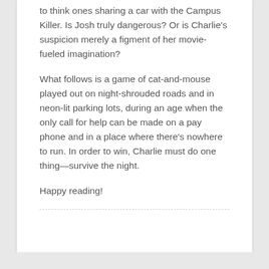to think ones sharing a car with the Campus Killer. Is Josh truly dangerous? Or is Charlie's suspicion merely a figment of her movie-fueled imagination?
What follows is a game of cat-and-mouse played out on night-shrouded roads and in neon-lit parking lots, during an age when the only call for help can be made on a pay phone and in a place where there's nowhere to run. In order to win, Charlie must do one thing—survive the night.
Happy reading!